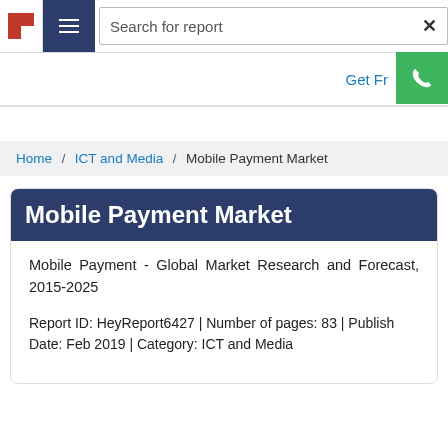[Figure (screenshot): Website navigation bar with hamburger menu icon, search bar with 'Search for report' placeholder text, and an X close button. A green phone button is overlaid in the top right area. A 'Get Fr...' link in blue is visible.]
Home / ICT and Media / Mobile Payment Market
Mobile Payment Market
Mobile Payment - Global Market Research and Forecast, 2015-2025
Report ID: HeyReport6427 | Number of pages: 83 | Publish Date: Feb 2019 | Category: ICT and Media